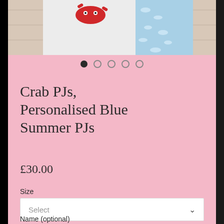[Figure (photo): Product photo showing crab themed PJs and blue summer PJs folded/displayed, partially visible at top of page]
[Figure (infographic): Image carousel dot indicators: 5 dots, first one filled/active, remaining 4 are outline/inactive]
Crab PJs, Personalised Blue Summer PJs
£30.00
Size
Select
Name (optional)